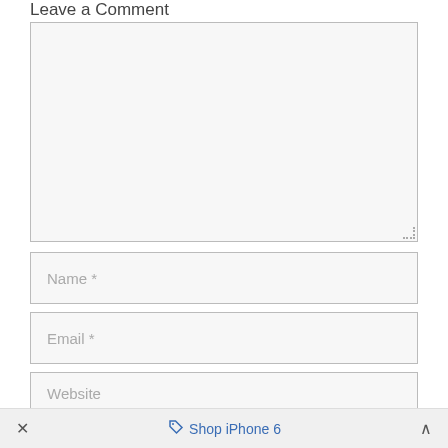Leave a Comment
[Figure (screenshot): Empty comment textarea input box with light gray background and resize handle]
[Figure (screenshot): Name * text input field with gray background]
[Figure (screenshot): Email * text input field with gray background]
[Figure (screenshot): Website text input field with gray background, partially visible]
× Shop iPhone 6 ^